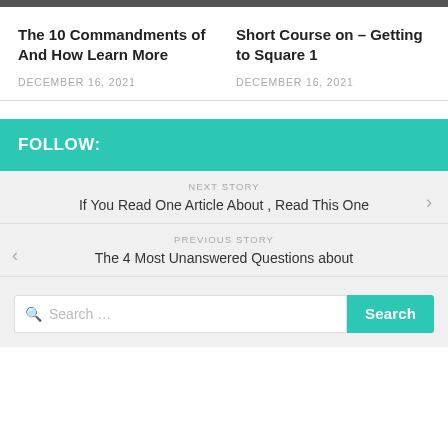The 10 Commandments of And How Learn More
DECEMBER 16, 2021
Short Course on – Getting to Square 1
DECEMBER 16, 2021
FOLLOW:
NEXT STORY
If You Read One Article About , Read This One
PREVIOUS STORY
The 4 Most Unanswered Questions about